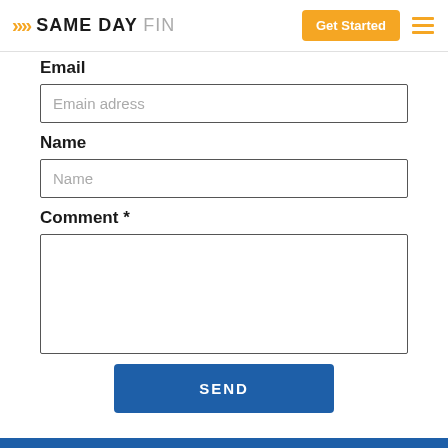SAME DAY FIN | Get Started
Email
Emain adress
Name
Name
Comment *
SEND